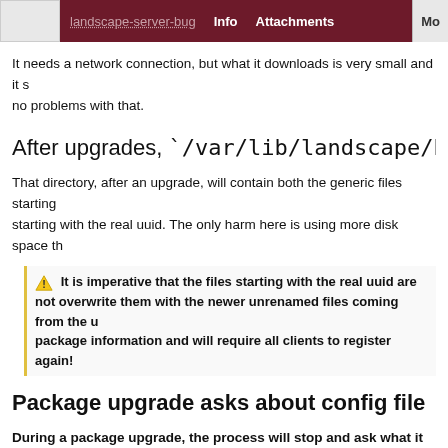Info  Attachments  Mo
It needs a network connection, but what it downloads is very small and it s no problems with that.
After upgrades, `/var/lib/landscape/hash-id-databa
That directory, after an upgrade, will contain both the generic files starting starting with the real uuid. The only harm here is using more disk space th
⚠ It is imperative that the files starting with the real uuid are not overwrite them with the newer unrenamed files coming from the u package information and will require all clients to register again!
Package upgrade asks about config file
During a package upgrade, the process will stop and ask what it sho
Configuration file `/etc/landscape/service.conf'
    ==> Modified (by you or by a script) since installa
    ==> Package distributor has shipped an updated vers
    What would you like to do about it ?  Your option